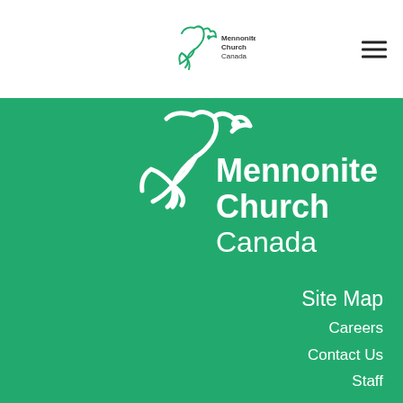Mennonite Church Canada [logo and navigation header]
[Figure (logo): Mennonite Church Canada logo: white dove/bird figure with leaves on green background, with organization name 'Mennonite Church Canada' in white text]
Site Map
Careers
Contact Us
Staff